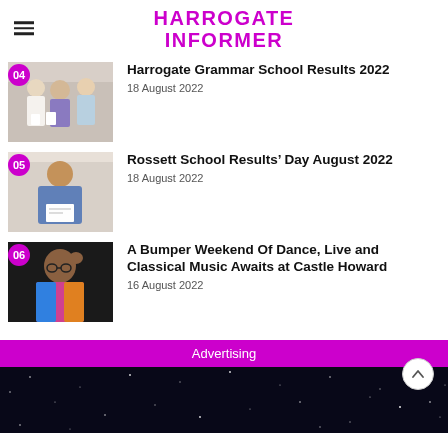HARROGATE INFORMER
[Figure (photo): Photo of students holding results papers - article 04]
Harrogate Grammar School Results 2022
18 August 2022
[Figure (photo): Photo of student holding results paper - article 05]
Rossett School Results’ Day August 2022
18 August 2022
[Figure (photo): Photo of man with colorful jacket - article 06]
A Bumper Weekend Of Dance, Live and Classical Music Awaits at Castle Howard
16 August 2022
Advertising
[Figure (photo): Dark starry night sky advertisement image]